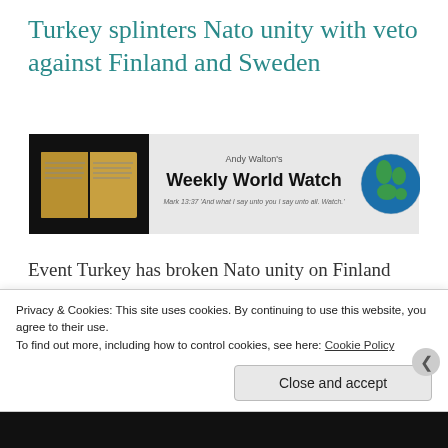Turkey splinters Nato unity with veto against Finland and Sweden
[Figure (illustration): Andy Walton's Weekly World Watch newsletter banner with an open Bible image on the left, the newsletter title in bold center, a tagline from Mark 13:37, and a globe image on the right.]
Event Turkey has broken Nato unity on Finland and Sweden's push to join the alliance, blocking an initial vote on accession after President Erdogan demanded that the two countries hand
Privacy & Cookies: This site uses cookies. By continuing to use this website, you agree to their use.
To find out more, including how to control cookies, see here: Cookie Policy
Close and accept